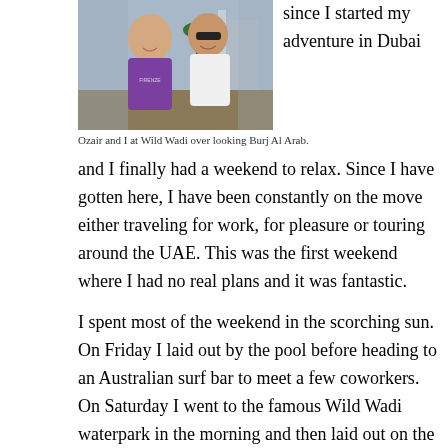[Figure (photo): Two men smiling for a photo outdoors. One wearing a purple 'FIRENZE' t-shirt, the other in a white v-neck shirt with sunglasses. Background shows a resort/waterpark area with a palm tree.]
since I started my adventure in Dubai
Ozair and I at Wild Wadi over looking Burj Al Arab.
and I finally had a weekend to relax.  Since I have gotten here, I have been constantly on the move either traveling for work, for pleasure or touring around the UAE.  This was the first weekend where I had no real plans and it was fantastic.
I spent most of the weekend in the scorching sun.  On Friday I laid out by the pool before heading to an Australian surf bar to meet a few coworkers.  On Saturday I went to the famous Wild Wadi waterpark in the morning and then laid out on the beach for a few hours.  I also managed to work out, make dinner and do laundry to have some sort of resemblance of a normal